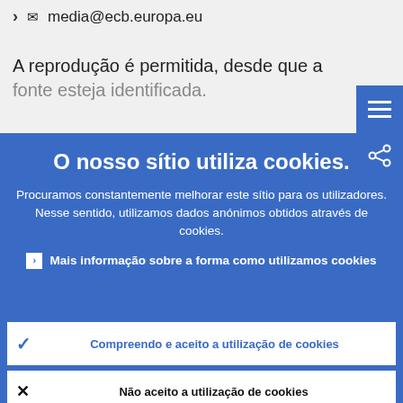> media@ecb.europa.eu
A reprodução é permitida, desde que a fonte esteja identificada.
O nosso sítio utiliza cookies.
Procuramos constantemente melhorar este sítio para os utilizadores. Nesse sentido, utilizamos dados anónimos obtidos através de cookies.
Mais informação sobre a forma como utilizamos cookies
Compreendo e aceito a utilização de cookies
Não aceito a utilização de cookies